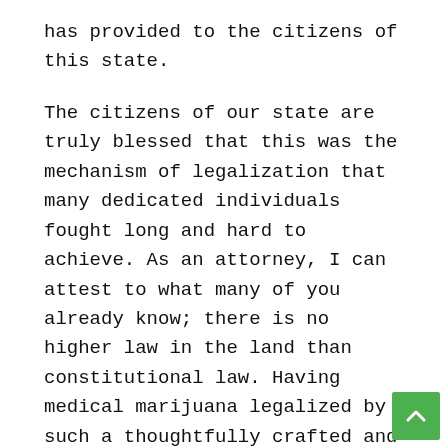has provided to the citizens of this state.
The citizens of our state are truly blessed that this was the mechanism of legalization that many dedicated individuals fought long and hard to achieve. As an attorney, I can attest to what many of you already know; there is no higher law in the land than constitutional law. Having medical marijuana legalized by such a thoughtfully crafted and thorough constitutional amendment, overwhelmingly supported by the people, will provide the citizens of our State with protections from overly restrictive legislation that has continued to plague the industry in many other legalized states.
We should all be thankful for this and thankful for those who drafted and fought for this amendment, as well as